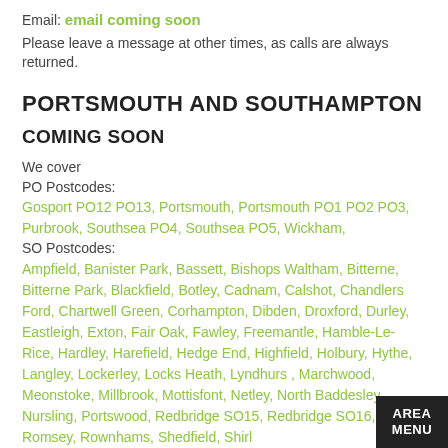Email: email coming soon
Please leave a message at other times, as calls are always returned.
PORTSMOUTH AND SOUTHAMPTON
COMING SOON
We cover
PO Postcodes:
Gosport PO12 PO13, Portsmouth, Portsmouth PO1 PO2 PO3, Purbrook, Southsea PO4, Southsea PO5, Wickham,
SO Postcodes:
Ampfield, Banister Park, Bassett, Bishops Waltham, Bitterne, Bitterne Park, Blackfield, Botley, Cadnam, Calshot, Chandlers Ford, Chartwell Green, Corhampton, Dibden, Droxford, Durley, Eastleigh, Exton, Fair Oak, Fawley, Freemantle, Hamble-Le-Rice, Hardley, Harefield, Hedge End, Highfield, Holbury, Hythe, Langley, Lockerley, Locks Heath, Lyndhurst, Marchwood, Meonstoke, Millbrook, Mottisfont, Netley, North Baddesley, Nursling, Portswood, Redbridge SO15, Redbridge SO16, Romsey, Rownhams, Shedfield, Shirley…